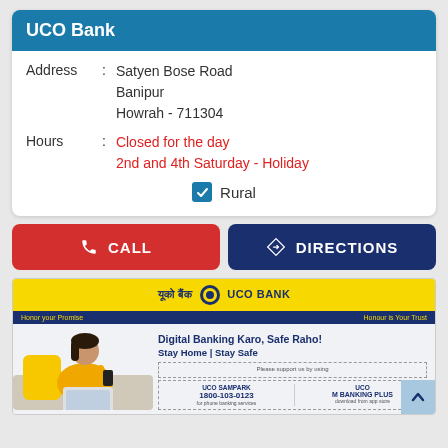UCO Bank
Address : Satyen Bose Road Banipur Howrah - 711304
Hours : Closed for the day
2nd and 4th Saturday - Holiday
Rural
[Figure (screenshot): UCO Bank info card with CALL and DIRECTIONS buttons]
[Figure (infographic): UCO Bank advertisement banner: Digital Banking Karo, Safe Raho! Stay Home | Stay Safe. UCO SAMPARK 1800-103-0123 for phone banking services. UCO M BANKING PLUS download from app store.]